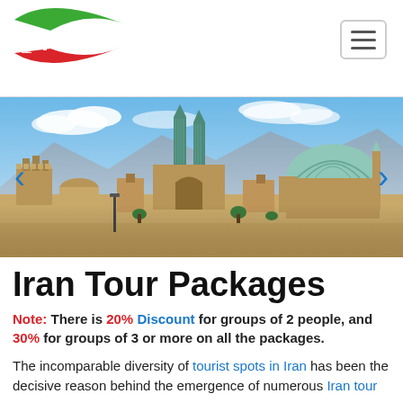[Figure (logo): Tours company logo with green and red swoosh graphic and the word 'Tours' in white text]
[Figure (photo): Panoramic photo of an Iranian city skyline featuring tall minarets of the Jameh Mosque of Yazd with twin turquoise-tiled towers, wind towers, ancient domed buildings, and mountains in the background under a blue sky with clouds]
Iran Tour Packages
Note: There is 20% Discount for groups of 2 people, and 30% for groups of 3 or more on all the packages.
The incomparable diversity of tourist spots in Iran has been the decisive reason behind the emergence of numerous Iran tour